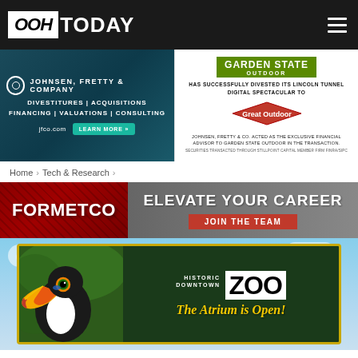OOH TODAY
[Figure (illustration): Advertisement for Johnsen, Fretty & Company - Divestitures, Acquisitions, Financing, Valuations, Consulting. jfco.com Learn More]
[Figure (illustration): Advertisement: Garden State Outdoor has successfully divested its Lincoln Tunnel Digital Spectacular to Great Outdoor. Johnsen, Fretty & Co. acted as the exclusive financial advisor to Garden State Outdoor in the transaction. Securities transacted through Stillpoint Capital Member Firm FINRA/SIPC.]
Home > Tech & Research >
[Figure (illustration): Formetco advertisement banner: ELEVATE YOUR CAREER - JOIN THE TEAM]
[Figure (photo): Billboard featuring a toucan bird with text: Historic Downtown ZOO - The Atrium is Open!]